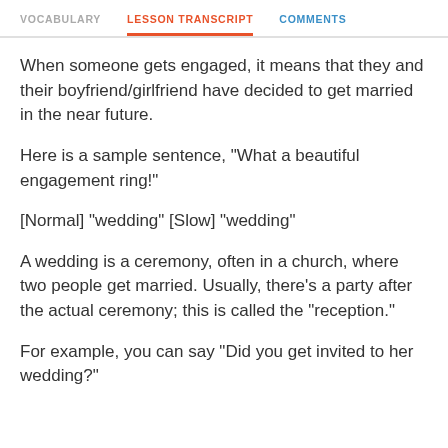VOCABULARY  LESSON TRANSCRIPT  COMMENTS
When someone gets engaged, it means that they and their boyfriend/girlfriend have decided to get married in the near future.
Here is a sample sentence, "What a beautiful engagement ring!"
[Normal] "wedding" [Slow] "wedding"
A wedding is a ceremony, often in a church, where two people get married. Usually, there's a party after the actual ceremony; this is called the "reception."
For example, you can say "Did you get invited to her wedding?"